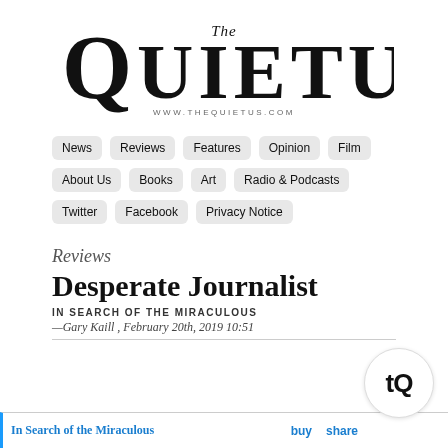[Figure (logo): The Quietus logo with 'The' in italic above large 'QUIETUS' text and www.thequietus.com below]
News | Reviews | Features | Opinion | Film | About Us | Books | Art | Radio & Podcasts | Twitter | Facebook | Privacy Notice
Reviews
Desperate Journalist
IN SEARCH OF THE MIRACULOUS
— Gary Kaill , February 20th, 2019 10:51
In Search of the Miraculous   buy   share